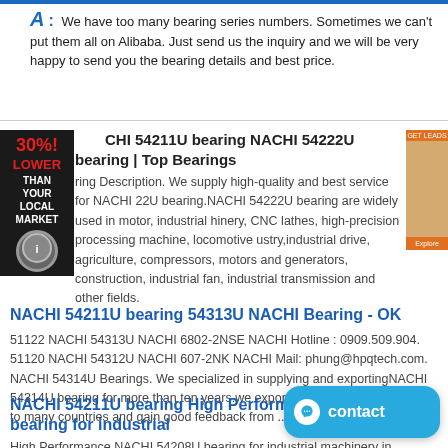A: We have too many bearing series numbers. Sometimes we can't put them all on Alibaba. Just send us the inquiry and we will be very happy to send you the bearing details and best price.
CHI 54211U bearing NACHI 54222U bearing | Top Bearings
ring Description. We supply high-quality and best service for NACHI 22U bearing.NACHI 54222U bearing are widely used in motor, industrial hinery, CNC lathes, high-precision processing machine, locomotive ustry,industrial drive, agriculture, compressors, motors and generators, construction, industrial fan, industrial transmission and other fields.
NACHI 54211U bearing 54313U NACHI Bearing - OK
51122 NACHI 54313U NACHI 6802-2NSE NACHI Hotline : 0909.509.904. 51120 NACHI 54312U NACHI 607-2NK NACHI Mail: phung@hpqtech.com. NACHI 54314U Bearings. We specialized in supplying and exportingNACHI 54314U bearing for more than ten years.we export NACHI 54314U bearing to many countries and gain good feedback from ...
NACHI 54211U bearing High Performance NACHI bearing for industrial
High Performance NACHI 54208U bearing for industrial machinery in Rwanda